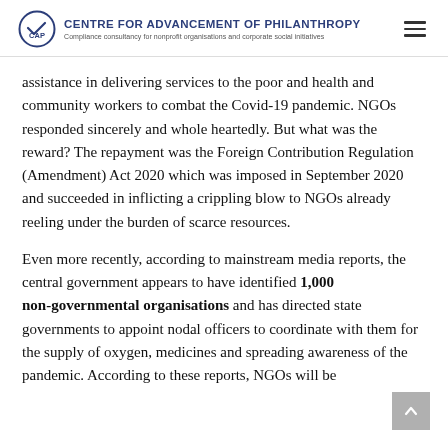Centre for Advancement of Philanthropy — Compliance consultancy for nonprofit organisations and corporate social initiatives
assistance in delivering services to the poor and health and community workers to combat the Covid-19 pandemic. NGOs responded sincerely and whole heartedly. But what was the reward? The repayment was the Foreign Contribution Regulation (Amendment) Act 2020 which was imposed in September 2020 and succeeded in inflicting a crippling blow to NGOs already reeling under the burden of scarce resources.
Even more recently, according to mainstream media reports, the central government appears to have identified 1,000 non-governmental organisations and has directed state governments to appoint nodal officers to coordinate with them for the supply of oxygen, medicines and spreading awareness of the pandemic. According to these reports, NGOs will be